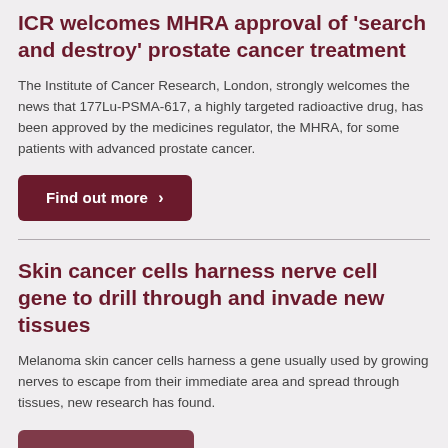ICR welcomes MHRA approval of 'search and destroy' prostate cancer treatment
The Institute of Cancer Research, London, strongly welcomes the news that 177Lu-PSMA-617, a highly targeted radioactive drug, has been approved by the medicines regulator, the MHRA, for some patients with advanced prostate cancer.
Find out more ›
Skin cancer cells harness nerve cell gene to drill through and invade new tissues
Melanoma skin cancer cells harness a gene usually used by growing nerves to escape from their immediate area and spread through tissues, new research has found.